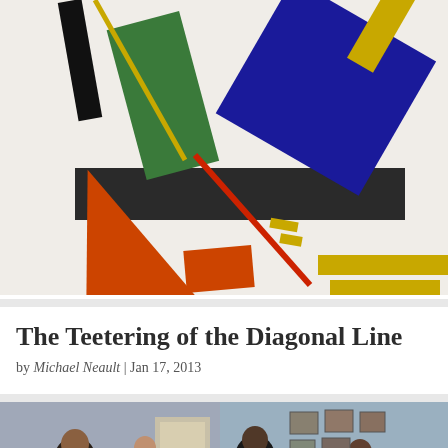[Figure (illustration): Suprematist abstract painting featuring geometric shapes — green rectangle, large blue quadrilateral, black horizontal bar, orange triangle, red diagonal line, yellow rectangles and lines on white background. Style resembling Malevich Suprematism.]
The Teetering of the Diagonal Line
by Michael Neault | Jan 17, 2013
[Figure (photo): A historical painting or photograph showing a group of people in 19th century attire in an interior room setting, with figures appearing to be in conversation or viewing artwork.]